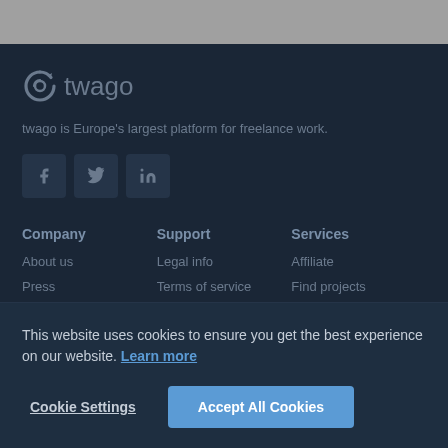[Figure (logo): twago logo with circular arrow icon and wordmark in grey on dark background]
twago is Europe's largest platform for freelance work.
[Figure (infographic): Social media icons: Facebook, Twitter, LinkedIn as dark square buttons]
Company
Support
Services
About us
Legal info
Affiliate
Press
Terms of service
Find projects
This website uses cookies to ensure you get the best experience on our website. Learn more
Cookie Settings
Accept All Cookies